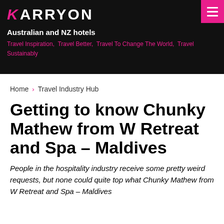KARRYON
Australian and NZ hotels
Travel Inspiration, Travel Better, Travel To Change The World, Travel Sustainably
Home > Travel Industry Hub
Getting to know Chunky Mathew from W Retreat and Spa – Maldives
People in the hospitality industry receive some pretty weird requests, but none could quite top what Chunky Mathew from W Retreat and Spa Maldives